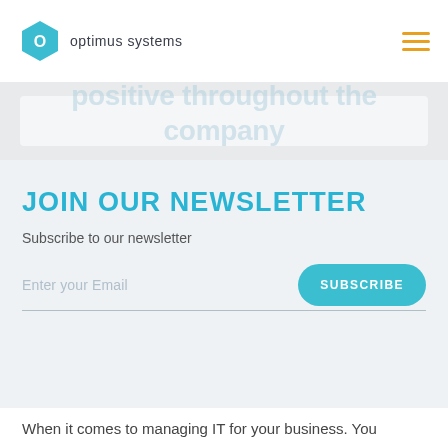[Figure (logo): Optimus Systems logo: teal hexagon with white 'O' and the text 'optimus systems']
JOIN OUR NEWSLETTER
Subscribe to our newsletter
Enter your Email
SUBSCRIBE
When it comes to managing IT for your business. You